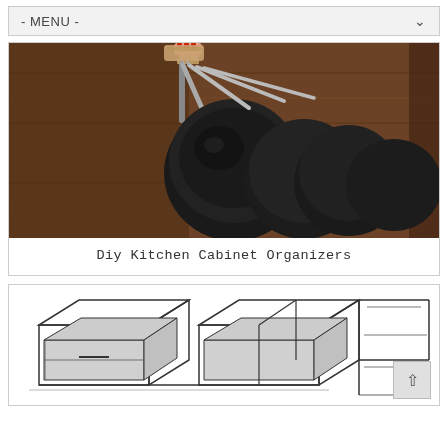- MENU -
[Figure (photo): Pots and pans hanging on a wooden cabinet organizer rail. Multiple black non-stick frying pans with silver handles suspended from a rack inside a dark wood cabinet. A hand with red fingernails is visible at the top touching the rack.]
Diy Kitchen Cabinet Organizers
[Figure (engineering-diagram): Line drawing/schematic of kitchen cabinet drawer system showing an isometric view of cabinet drawers and frames, with gray shading on drawer fronts.]